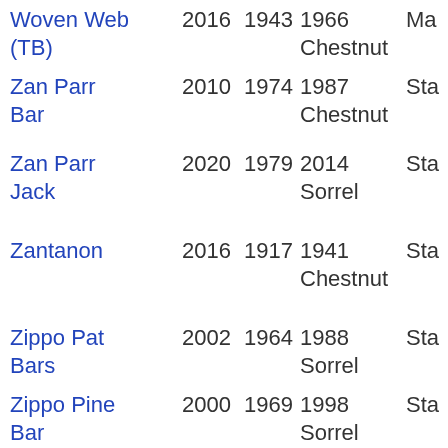| Name | Year1 | Year2 | Year3 | Color | Status |
| --- | --- | --- | --- | --- | --- |
| Woven Web (TB) | 2016 | 1943 | 1966 | Chestnut | Ma |
| Zan Parr Bar | 2010 | 1974 | 1987 | Chestnut | Sta |
| Zan Parr Jack | 2020 | 1979 | 2014 | Sorrel | Sta |
| Zantanon | 2016 | 1917 | 1941 | Chestnut | Sta |
| Zippo Pat Bars | 2002 | 1964 | 1988 | Sorrel | Sta |
| Zippo Pine Bar | 2000 | 1969 | 1998 | Sorrel | Sta |
| Zippos Mr Good Bar | 2019 | 1984 | 2016 | Roan | Sta |
| Zips Chocolate | 2017 | 1985 | 2015 | Bay | Sta |